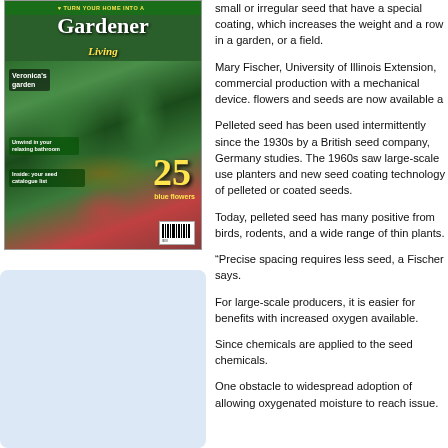[Figure (photo): Magazine cover of 'Home & Garden Living' featuring a lush garden photo with text 'Veronica's garden', '25 blue flowers', and other blurbs about bathrooms and seed catalogues.]
[Figure (other): Light blue rectangle placeholder box in the lower left column area.]
small or irregular seed that have a special coating, which increases the weight and a row in a garden, or a field.
Mary Fischer, University of Illinois Extension, commercial production with a mechanical device. flowers and seeds are now available a
Pelleted seed has been used intermittently since the 1930s by a British seed company, Germany studies. The 1960s saw large-scale use planters and new seed coating technology of pelleted or coated seeds.
Today, pelleted seed has many positive from birds, rodents, and a wide range of thin plants.
“Precise spacing requires less seed, a Fischer says.
For large-scale producers, it is easier for benefits with increased oxygen available.
Since chemicals are applied to the seed chemicals.
One obstacle to widespread adoption of allowing oxygenated moisture to reach issue.